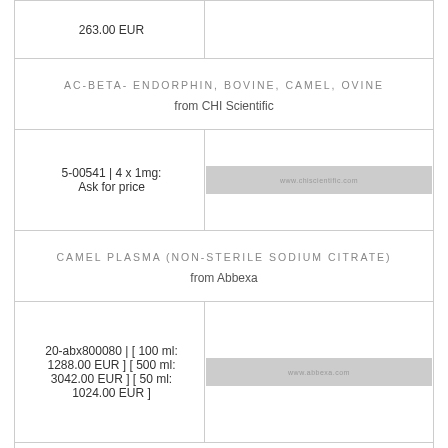| 263.00 EUR |  |
| AC-BETA- ENDORPHIN, BOVINE, CAMEL, OVINE
from CHI Scientific |  |
| 5-00541 | 4 x 1mg:
Ask for price | [image] |
| CAMEL PLASMA (NON-STERILE SODIUM CITRATE)
from Abbexa |  |
| 20-abx800080 | [ 100 ml: 1288.00 EUR ] [ 500 ml: 3042.00 EUR ] [ 50 ml: 1024.00 EUR ] | [image] |
| CAMEL PLASMA (NON-STERILE SODIUM CITRATE) |  |